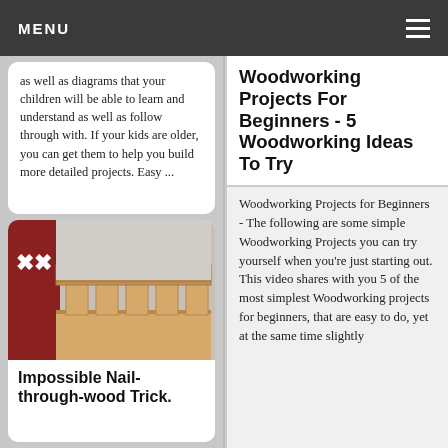MENU
as well as diagrams that your children will be able to learn and understand as well as follow through with. If your kids are older, you can get them to help you build more detailed projects. Easy ...
[Figure (photo): Wooden box joint / finger joint woodworking project with interlocking wood pieces, red background visible on left side, workshop setting]
Impossible Nail-through-wood Trick.
Woodworking Projects For Beginners - 5 Woodworking Ideas To Try
Woodworking Projects for Beginners - The following are some simple Woodworking Projects you can try yourself when you're just starting out. This video shares with you 5 of the most simplest Woodworking projects for beginners, that are easy to do, yet at the same time slightly